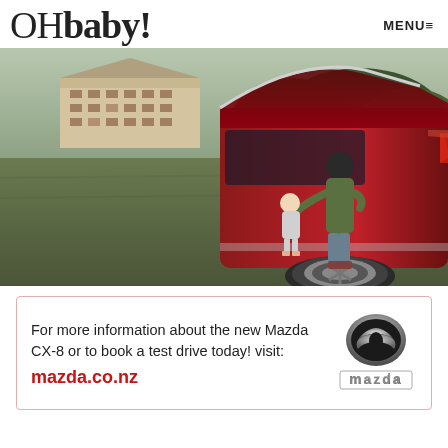OHbaby! MENU≡
[Figure (photo): A person loading a small child into the boot/trunk of a dark red Mazda CX-8 SUV, parked on a grassy field with a large building and trees in the background.]
For more information about the new Mazda CX-8 or to book a test drive today! visit:
mazda.co.nz
[Figure (logo): Mazda logo — silver M-wing emblem above stylized 'mazda' wordmark in silver/chrome lettering]